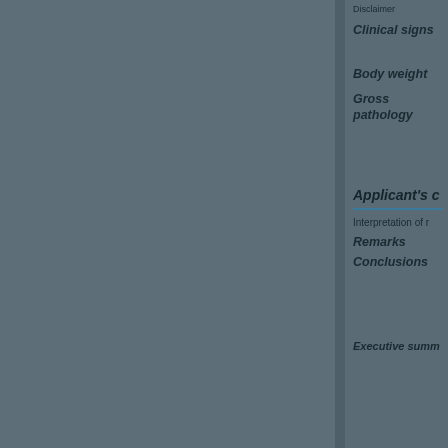Disclaimer
Clinical signs
Body weight
Gross pathology
Applicant's c
Interpretation of r
Remarks
Conclusions
Executive summ